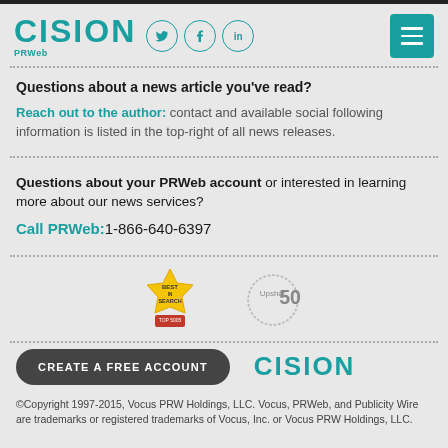[Figure (logo): Cision PRWeb logo with social media icons (Twitter, Facebook, LinkedIn) and teal hamburger menu button]
Questions about a news article you've read?
Reach out to the author: contact and available social following information is listed in the top-right of all news releases.
Questions about your PRWeb account or interested in learning more about our news services?
Call PRWeb:1-866-640-6397
[Figure (logo): Two award badges: Best Search badge and Upshot 50 badge]
[Figure (logo): CREATE A FREE ACCOUNT button and Cision logo]
©Copyright 1997-2015, Vocus PRW Holdings, LLC. Vocus, PRWeb, and Publicity Wire are trademarks or registered trademarks of Vocus, Inc. or Vocus PRW Holdings, LLC.